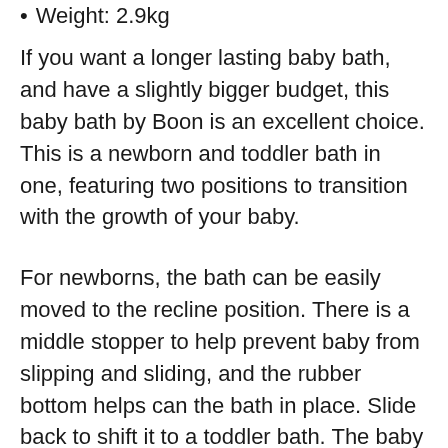Weight: 2.9kg
If you want a longer lasting baby bath, and have a slightly bigger budget, this baby bath by Boon is an excellent choice. This is a newborn and toddler bath in one, featuring two positions to transition with the growth of your baby.
For newborns, the bath can be easily moved to the recline position. There is a middle stopper to help prevent baby from slipping and sliding, and the rubber bottom helps can the bath in place. Slide back to shift it to a toddler bath. The baby headrest is a little hard however so I would advise putting something